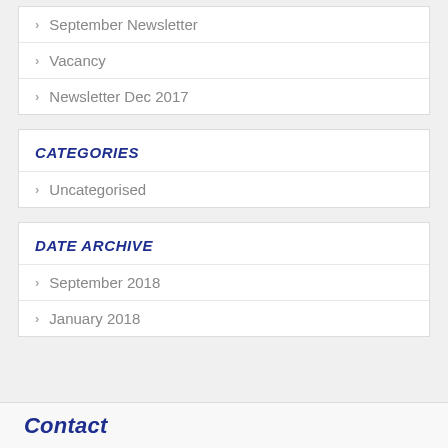September Newsletter
Vacancy
Newsletter Dec 2017
CATEGORIES
Uncategorised
DATE ARCHIVE
September 2018
January 2018
Contact